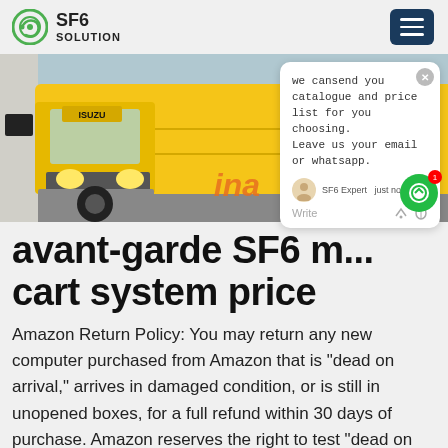SF6 SOLUTION
[Figure (photo): Yellow truck/lorry photographed from the front-side, parked near a building. A chat popup overlay is visible in the top-right corner of the image with text: 'we can send you catalogue and price list for you choosing. Leave us your email or whatsapp.' with SF6 Expert label and 'just now' timestamp. Green chat bubble button with notification badge showing 1.]
avant-garde SF6 m... cart system price
Amazon Return Policy: You may return any new computer purchased from Amazon that is "dead on arrival," arrives in damaged condition, or is still in unopened boxes, for a full refund within 30 days of purchase. Amazon reserves the right to test "dead on arrival" returns and impose a customer fee equal